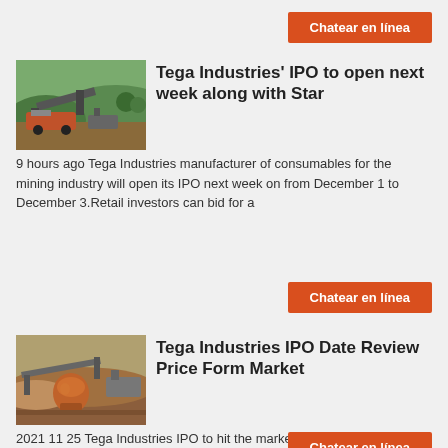[Figure (other): Orange button labeled 'Chatear en linea' at top right]
[Figure (photo): Mining industry machinery outdoors]
Tega Industries' IPO to open next week along with Star
9 hours ago Tega Industries manufacturer of consumables for the mining industry will open its IPO next week on from December 1 to December 3.Retail investors can bid for a
[Figure (other): Orange button labeled 'Chatear en linea' in middle right]
[Figure (photo): Mining industry with earthmoving equipment and orange machinery]
Tega Industries IPO Date Review Price Form Market
2021 11 25 Tega Industries IPO to hit the market on December 01 and will close on December 03 2021 Tega Industries IPO to raise around ₹619 crores via IPO that comprises fresh issue of ₹ crores and offer for sale up to 13 669 478 equity shares of ₹10 each.The retail quota is 35 with QIB 50 and HNI 15 . Tega Industries Limited is a leading manufacturer of specialized critical to operate and
[Figure (other): Orange button labeled 'Chatear en linea' at bottom right (partially visible)]